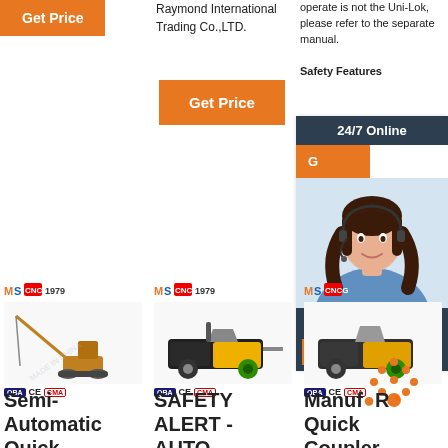Raymond International Trading Co.,LTD.
[Figure (other): Orange Get Price button top left]
operate is not the Uni-Lok, please refer to the separate manual. Safety Features
[Figure (other): Orange Get Price button center]
[Figure (other): 24/7 Online chat widget with woman wearing headset, Click here for free chat!, QUOTATION button]
[Figure (photo): Semi-Automatic Quick product machine image with logo]
[Figure (photo): SAFETY ALERT - AUTO machine image with logo]
[Figure (photo): Manufacturer Quick Coupler machine image with logo and QR code]
Semi-Automatic Quick
SAFETY ALERT - AUTO
Manufacturer Quick Coupler